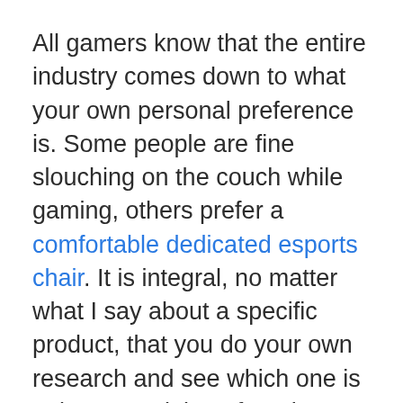All gamers know that the entire industry comes down to what your own personal preference is. Some people are fine slouching on the couch while gaming, others prefer a comfortable dedicated esports chair. It is integral, no matter what I say about a specific product, that you do your own research and see which one is going to work best for. The iBUYPOWER gaming computer is a great deal for a gaming machine well under $1000.
If you are an advanced gamer and demand a much faster computer that offers a way higher level of gameplay look at the SkyTech Omega Gaming Computer PC i7-6700K 4.0Ghz, Liquid Cooled, with 6GB RAM, 2TB HDD, 240GB SSD, 16GB DDR4, Win 10 P...